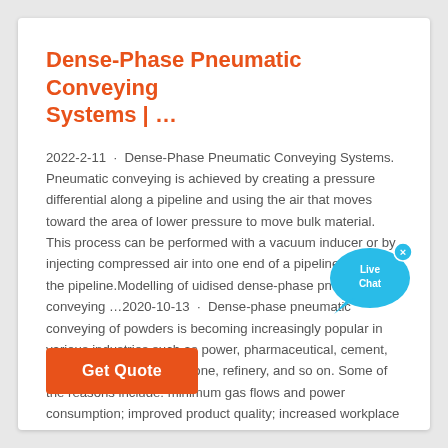Dense-Phase Pneumatic Conveying Systems | …
2022-2-11 · Dense-Phase Pneumatic Conveying Systems. Pneumatic conveying is achieved by creating a pressure differential along a pipeline and using the air that moves toward the area of lower pressure to move bulk material. This process can be performed with a vacuum inducer or by injecting compressed air into one end of a pipeline or along the pipeline.Modelling of uidised dense-phase pneumatic conveying …2020-10-13 · Dense-phase pneumatic conveying of powders is becoming increasingly popular in various industries such as power, pharmaceutical, cement, alumina, chemical, limestone, refinery, and so on. Some of the reasons include: minimum gas flows and power consumption; improved product quality; increased workplace safety. However,
[Figure (illustration): Live Chat speech bubble icon with blue color and an 'x' close button in the top right corner, overlapping the text area on the right side.]
Get Quote